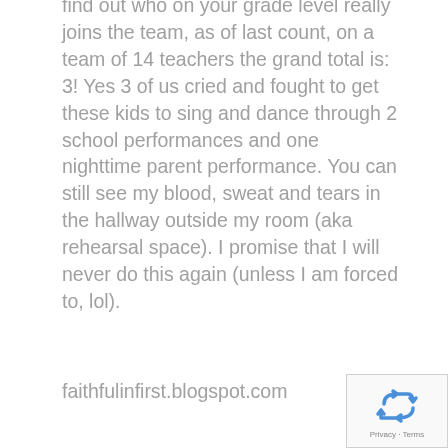find out who on your grade level really joins the team, as of last count, on a team of 14 teachers the grand total is: 3! Yes 3 of us cried and fought to get these kids to sing and dance through 2 school performances and one nighttime parent performance. You can still see my blood, sweat and tears in the hallway outside my room (aka rehearsal space). I promise that I will never do this again (unless I am forced to, lol).
faithfulinfirst.blogspot.com
[Figure (other): reCAPTCHA widget with recycling arrow icon and Privacy - Terms footer]